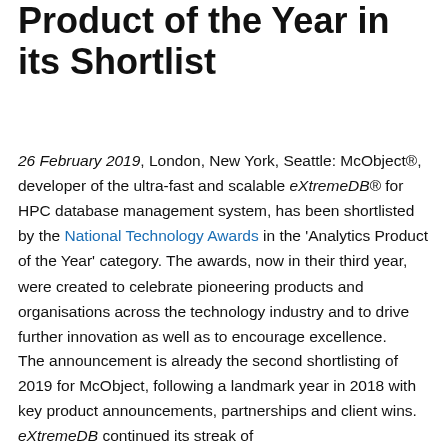Product of the Year in its Shortlist
26 February 2019, London, New York, Seattle: McObject®, developer of the ultra-fast and scalable eXtremeDB® for HPC database management system, has been shortlisted by the National Technology Awards in the 'Analytics Product of the Year' category. The awards, now in their third year, were created to celebrate pioneering products and organisations across the technology industry and to drive further innovation as well as to encourage excellence.
The announcement is already the second shortlisting of 2019 for McObject, following a landmark year in 2018 with key product announcements, partnerships and client wins. eXtremeDB continued its streak of